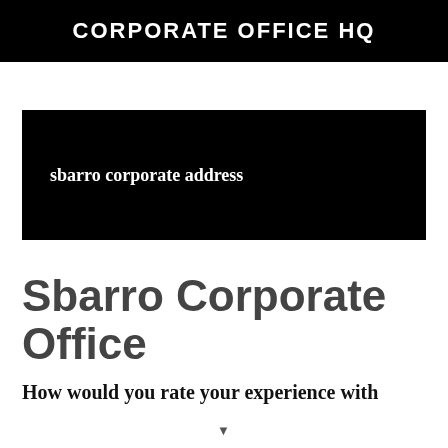CORPORATE OFFICE HQ
[Figure (other): Black banner with text 'sbarro corporate address']
Sbarro Corporate Office
How would you rate your experience with